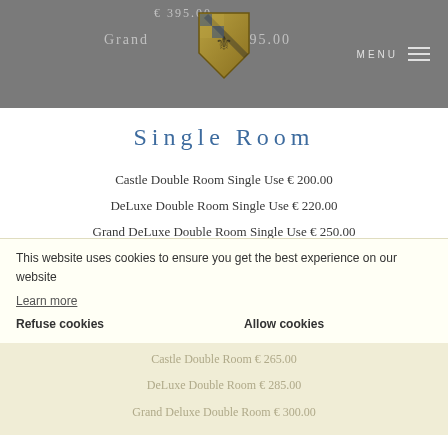Grand € 595.00 | MENU
Single Room
Castle Double Room Single Use € 200.00
DeLuxe Double Room Single Use € 220.00
Grand DeLuxe Double Room Single Use € 250.00
Low Season (01 November 2021 to 14 April 2022)
Double Room
Castle Double Room € 265.00
DeLuxe Double Room € 285.00
Grand Deluxe Double Room € 300.00
This website uses cookies to ensure you get the best experience on our website
Learn more
Refuse cookies   Allow cookies